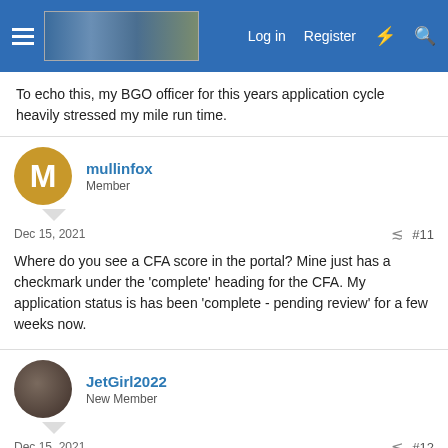Navigation bar with hamburger menu, logo, Log in, Register, lightning bolt icon, search icon
To echo this, my BGO officer for this years application cycle heavily stressed my mile run time.
mullinfox
Member
Dec 15, 2021 #11
Where do you see a CFA score in the portal? Mine just has a checkmark under the 'complete' heading for the CFA. My application status is has been 'complete - pending review' for a few weeks now.
JetGirl2022
New Member
Dec 15, 2021 #12